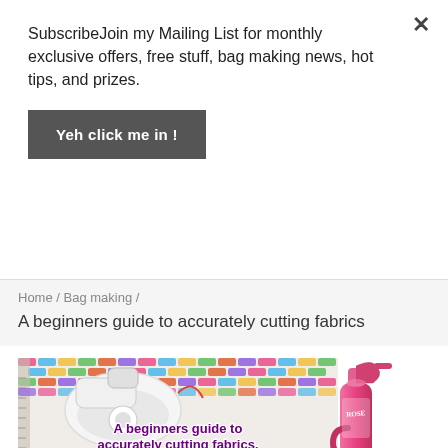SubscribeJoin my Mailing List for monthly exclusive offers, free stuff, bag making news, hot tips, and prizes.
Yeh click me in !
Home / Bag making /
A beginners guide to accurately cutting fabrics
[Figure (photo): Photo of a white clothes iron on colorful zigzag patterned fabric with a pink spray bottle (Rose brand) to the right, text overlay reads 'A beginners guide to accurately cutting fabrics']
A beginners guide to